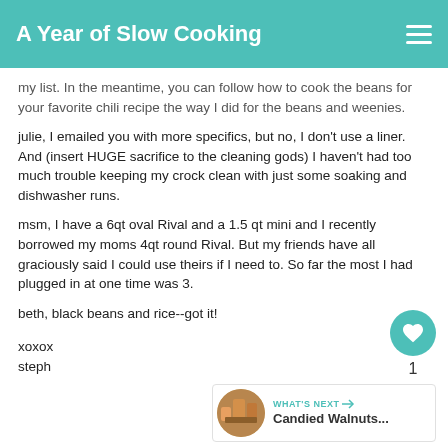A Year of Slow Cooking
my list. In the meantime, you can follow how to cook the beans for your favorite chili recipe the way I did for the beans and weenies.
julie, I emailed you with more specifics, but no, I don't use a liner. And (insert HUGE sacrifice to the cleaning gods) I haven't had too much trouble keeping my crock clean with just some soaking and dishwasher runs.
msm, I have a 6qt oval Rival and a 1.5 qt mini and I recently borrowed my moms 4qt round Rival. But my friends have all graciously said I could use theirs if I need to. So far the most I had plugged in at one time was 3.
beth, black beans and rice--got it!
xoxox
steph
WHAT'S NEXT → Candied Walnuts...